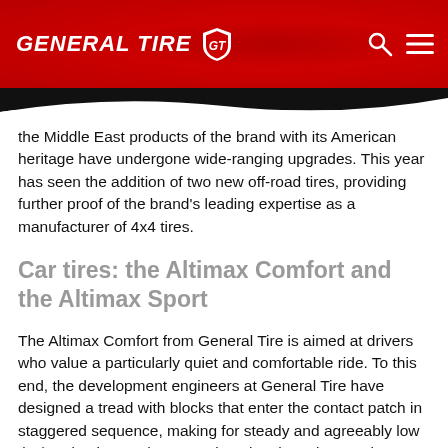[Figure (logo): General Tire logo with GT shield emblem on red header background, with search and menu icons on the right]
the Middle East products of the brand with its American heritage have undergone wide-ranging upgrades. This year has seen the addition of two new off-road tires, providing further proof of the brand's leading expertise as a manufacturer of 4x4 tires.
Car tires: the Altimax Comfort and the Altimax Sport
The Altimax Comfort from General Tire is aimed at drivers who value a particularly quiet and comfortable ride. To this end, the development engineers at General Tire have designed a tread with blocks that enter the contact patch in staggered sequence, making for steady and agreeably low tire/road noise. At the same time they have kept a clear focus on the tire's safety characteristics: The Altimax